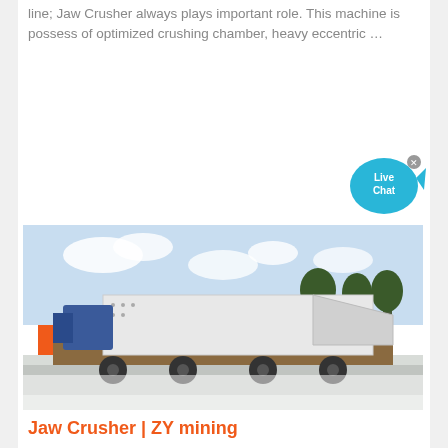line; Jaw Crusher always plays important role. This machine is possess of optimized crushing chamber, heavy eccentric …
Get Quote
[Figure (other): Live Chat bubble widget with close button (X), rendered as a blue speech bubble with fish-tail shape]
[Figure (photo): Photograph of a large jaw crusher machine mounted on a flatbed truck, with trees and a partly cloudy sky in the background]
Jaw Crusher | ZY mining